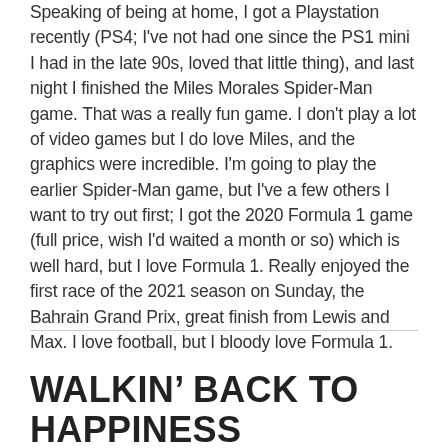Speaking of being at home, I got a Playstation recently (PS4; I've not had one since the PS1 mini I had in the late 90s, loved that little thing), and last night I finished the Miles Morales Spider-Man game. That was a really fun game. I don't play a lot of video games but I do love Miles, and the graphics were incredible. I'm going to play the earlier Spider-Man game, but I've a few others I want to try out first; I got the 2020 Formula 1 game (full price, wish I'd waited a month or so) which is well hard, but I love Formula 1. Really enjoyed the first race of the 2021 season on Sunday, the Bahrain Grand Prix, great finish from Lewis and Max. I love football, but I bloody love Formula 1.
WALKIN' BACK TO HAPPINESS